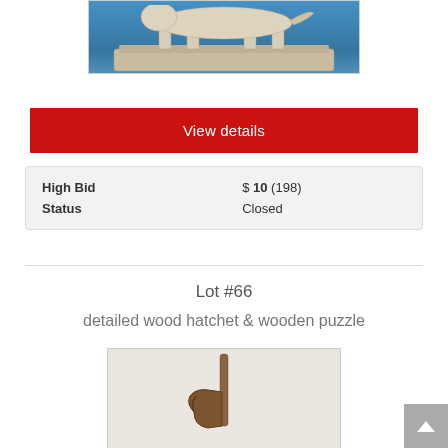[Figure (photo): A white/cream colored figurine (appears to be a horse or similar animal) on a rectangular base, against a blue background]
View details
| High Bid | $ 10 (198) |
| Status | Closed |
Lot #66
detailed wood hatchet & wooden puzzle
[Figure (photo): A wooden hatchet/axe tool photographed on a white/light background]